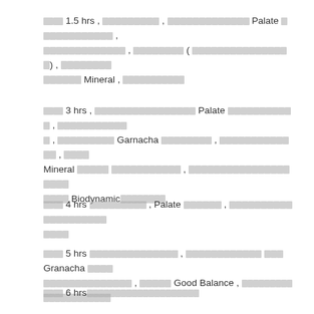## 1.5 hrs, [redacted], [redacted] Palate [redacted], [redacted], [redacted] ([redacted]), [redacted], ###### Mineral, [redacted]
## 3 hrs, [redacted] Palate [redacted], [redacted], [redacted] Garnacha [redacted], [redacted], #### Mineral [redacted], [redacted] [redacted] #### Biodynamic[redacted]
## 4 hrs [redacted], Palate[redacted], [redacted] ####
## 5 hrs [redacted], [redacted] ### Granacha #### [redacted], ##### Good Balance, [redacted]
## 6 hrs[redacted]